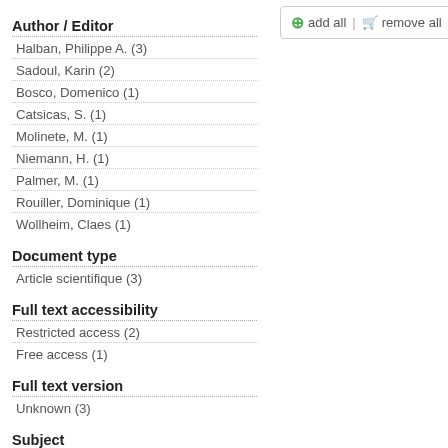Author / Editor
Halban, Philippe A. (3)
Sadoul, Karin (2)
Bosco, Domenico (1)
Catsicas, S. (1)
Molinete, M. (1)
Niemann, H. (1)
Palmer, M. (1)
Rouiller, Dominique (1)
Wollheim, Claes (1)
Document type
Article scientifique (3)
Full text accessibility
Restricted access (2)
Free access (1)
Full text version
Unknown (3)
Subject
Animals (2)